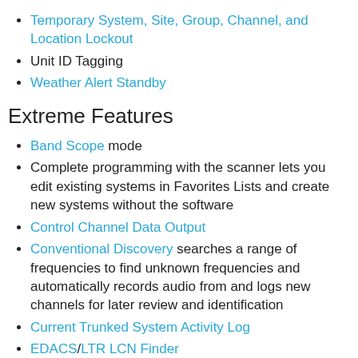Temporary System, Site, Group, Channel, and Location Lockout
Unit ID Tagging
Weather Alert Standby
Extreme Features
Band Scope mode
Complete programming with the scanner lets you edit existing systems in Favorites Lists and create new systems without the software
Control Channel Data Output
Conventional Discovery searches a range of frequencies to find unknown frequencies and automatically records audio from and logs new channels for later review and identification
Current Trunked System Activity Log
EDACS/LTR LCN Finder
EDACS/LTR LCN Monitor